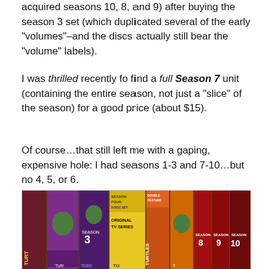acquired seasons 10, 8, and 9) after buying the season 3 set (which duplicated several of the early "volumes"–and the discs actually still bear the "volume" labels).
I was thrilled recently fo find a full Season 7 unit (containing the entire season, not just a "slice" of the season) for a good price (about $15).
Of course…that still left me with a gaping, expensive hole: I had seasons 1-3 and 7-10…but no 4, 5, or 6.
[Figure (photo): A row of Teenage Mutant Ninja Turtles DVD box sets standing upright on a shelf, showing spines with season numbers including Season 3, Season Four (8-Disc Set Original TV Series), a Double Feature set, Season 8, Season 9, and Season 10.]